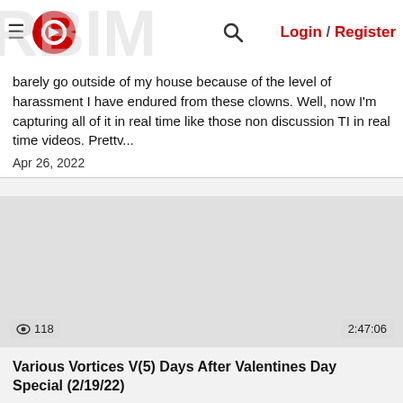Classifier News - Login / Register
barely go outside of my house because of the level of harassment I have endured from these clowns. Well, now I'm capturing all of it in real time like those non discussion TI in real time videos. Prettv...
Apr 26, 2022
[Figure (other): Video thumbnail placeholder — grey rectangle with view count '118' and duration '2:47:06']
Various Vortices V(5) Days After Valentines Day Special (2/19/22)